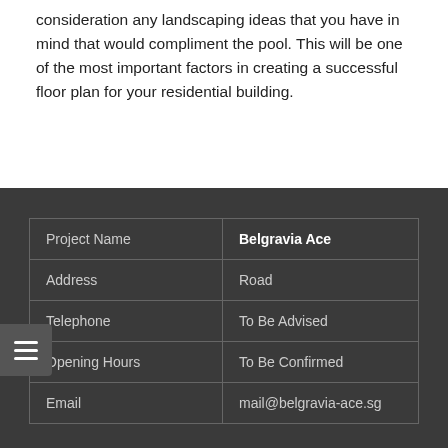consideration any landscaping ideas that you have in mind that would compliment the pool. This will be one of the most important factors in creating a successful floor plan for your residential building.
|  |  |
| --- | --- |
| Project Name | Belgravia Ace |
| Address | Road |
| Telephone | To Be Advised |
| Opening Hours | To Be Confirmed |
| Email | mail@belgravia-ace.sg |